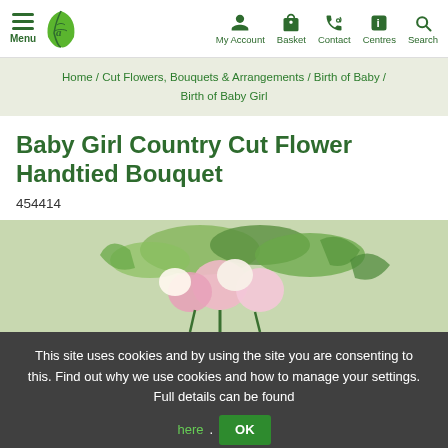Menu | My Account | Basket | Contact | Centres | Search
Home / Cut Flowers, Bouquets & Arrangements / Birth of Baby / Birth of Baby Girl
Baby Girl Country Cut Flower Handtied Bouquet
454414
[Figure (photo): Partial view of a pink and white flower bouquet with green foliage]
This site uses cookies and by using the site you are consenting to this. Find out why we use cookies and how to manage your settings. Full details can be found here.  OK